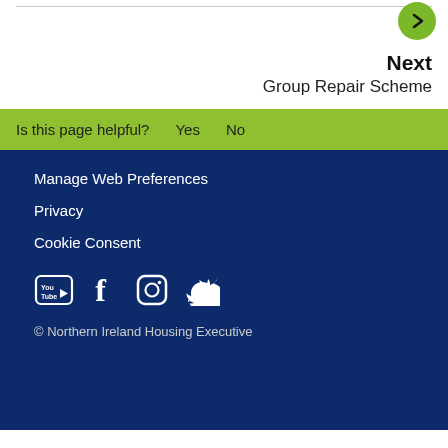Next
Group Repair Scheme
Is this page helpful? Yes No
Manage Web Preferences
Privacy
Cookie Consent
[Figure (logo): Social media icons: YouTube, Facebook, Instagram, Twitter]
© Northern Ireland Housing Executive